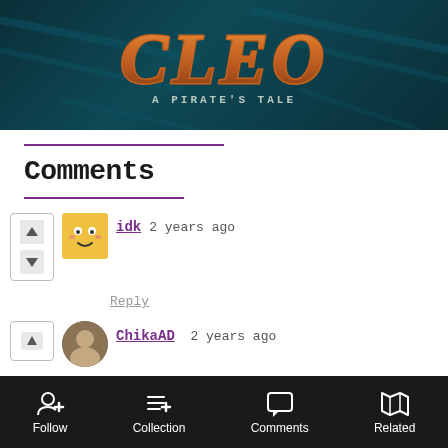[Figure (logo): CLEO - A Pirate's Tale game logo on dark teal banner background]
Comments
idk  2 years ago
Reply
ChikaAD  2 years ago